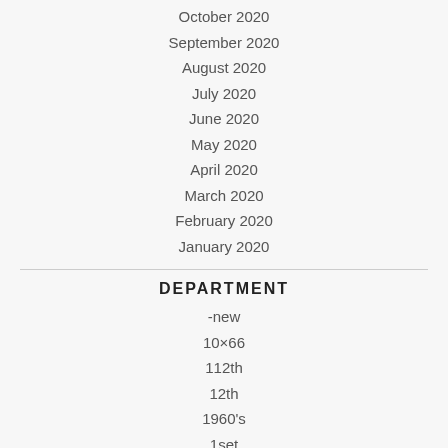October 2020
September 2020
August 2020
July 2020
June 2020
May 2020
April 2020
March 2020
February 2020
January 2020
DEPARTMENT
-new
10×66
112th
12th
1960's
1set
2in1
2xdiy